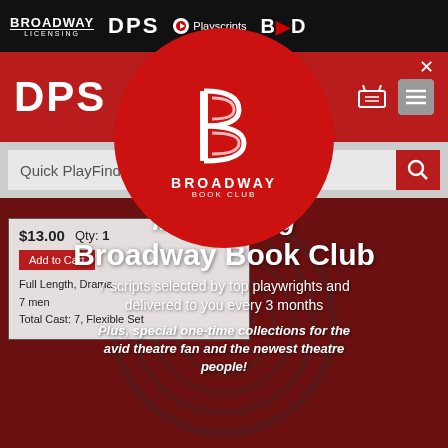BROADWAY LICENSING  DPS  Playscripts  BOD
DPS
Quick PlayFinder...
[Figure (logo): Broadway Book Club circular logo with stylized B and text BROADWAY BOOK CLUB]
Introducing Broadway Book Club
7 scripts selected by top playwrights and delivered to you every 3 months
Plus, special one-time collections for the avid theatre fan and the newest theatre people!
$13.00  Qty: 1
Add to Cart
Full Length, Drama
7 men
Total Cast: 7, Flexible Set